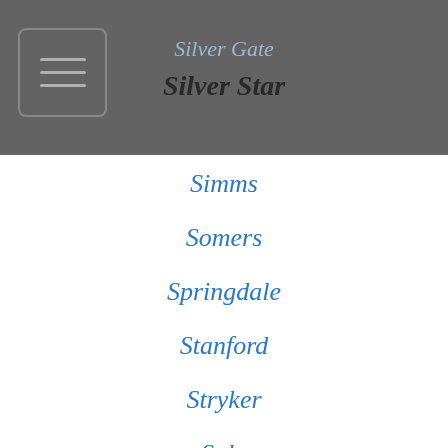Silver Gate
Silver Star
Simms
Somers
Springdale
Stanford
Stryker
Sula
Sumatra
Sun River
Sunburst